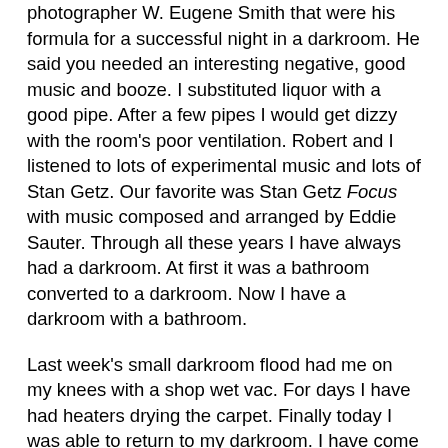photographer W. Eugene Smith that were his formula for a successful night in a darkroom. He said you needed an interesting negative, good music and booze. I substituted liquor with a good pipe. After a few pipes I would get dizzy with the room's poor ventilation. Robert and I listened to lots of experimental music and lots of Stan Getz. Our favorite was Stan Getz Focus with music composed and arranged by Eddie Sauter. Through all these years I have always had a darkroom. At first it was a bathroom converted to a darkroom. Now I have a darkroom with a bathroom.
Last week's small darkroom flood had me on my knees with a shop wet vac. For days I have had heaters drying the carpet. Finally today I was able to return to my darkroom. I have come to love and appreciate Grant Simmons's fine art giclées of my b+w negatives and slides or the wonderous light jet prints from slides at George King. But there is something to be said still about holding a photograph made from photographic paper or as they call them in the fine art circles "gelatin silver prints".
What you see here is almost as good as holding it. Not quite,